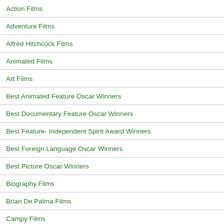Action Films
Adventure Films
Alfred Hitchcock Films
Animated Films
Art Films
Best Animated Feature Oscar Winners
Best Documentary Feature Oscar Winners
Best Feature- Independent Spirit Award Winners
Best Foreign Language Oscar Winners
Best Picture Oscar Winners
Biography Films
Brian De Palma Films
Campy Films